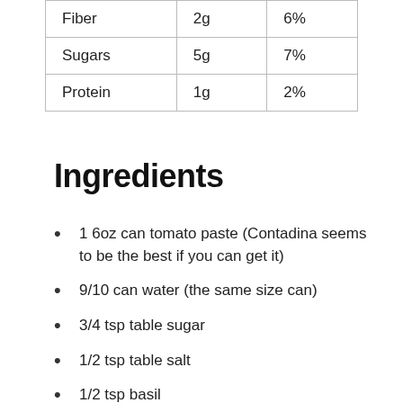| Fiber | 2g | 6% |
| Sugars | 5g | 7% |
| Protein | 1g | 2% |
Ingredients
1 6oz can tomato paste (Contadina seems to be the best if you can get it)
9/10 can water (the same size can)
3/4 tsp table sugar
1/2 tsp table salt
1/2 tsp basil